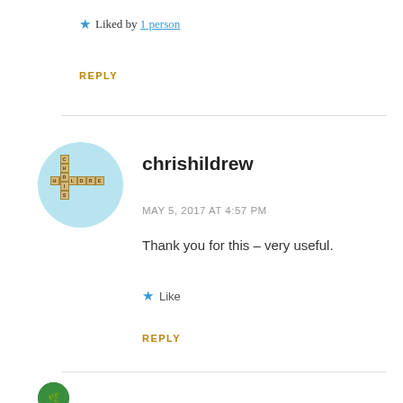Liked by 1 person
REPLY
[Figure (illustration): Avatar for chrishildrew — circular light blue badge with Scrabble tiles arranged in a cross pattern spelling CHILDREN horizontally and CHRIS vertically]
chrishildrew
MAY 5, 2017 AT 4:57 PM
Thank you for this – very useful.
Like
REPLY